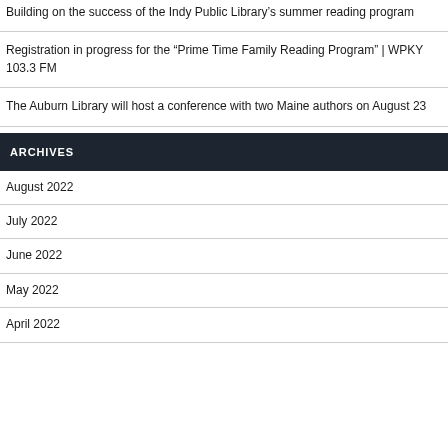Building on the success of the Indy Public Library's summer reading program
Registration in progress for the “Prime Time Family Reading Program” | WPKY 103.3 FM
The Auburn Library will host a conference with two Maine authors on August 23
ARCHIVES
August 2022
July 2022
June 2022
May 2022
April 2022